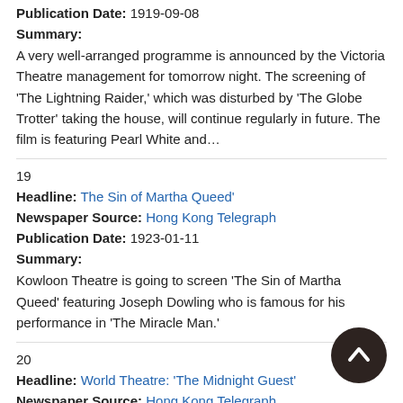Publication Date: 1919-09-08
Summary:
A very well-arranged programme is announced by the Victoria Theatre management for tomorrow night. The screening of 'The Lightning Raider,' which was disturbed by 'The Globe Trotter' taking the house, will continue regularly in future. The film is featuring Pearl White and…
19
Headline: The Sin of Martha Queed'
Newspaper Source: Hong Kong Telegraph
Publication Date: 1923-01-11
Summary:
Kowloon Theatre is going to screen 'The Sin of Martha Queed' featuring Joseph Dowling who is famous for his performance in 'The Miracle Man.'
20
Headline: World Theatre: 'The Midnight Guest'
Newspaper Source: Hong Kong Telegraph
Publication Date: 1923-11-21